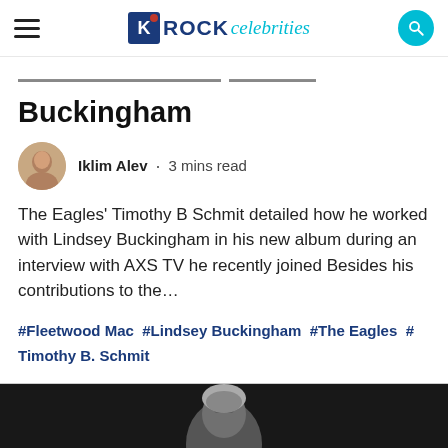Rock Celebrities
Collaboration With Lindsey Buckingham
Iklim Alev · 3 mins read
The Eagles' Timothy B Schmit detailed how he worked with Lindsey Buckingham in his new album during an interview with AXS TV he recently joined Besides his contributions to the…
#Fleetwood Mac #Lindsey Buckingham #The Eagles #Timothy B. Schmit
[Figure (photo): Black and white / dark photo of a man (Timothy B. Schmit) with gray hair, shown from shoulders up against a dark background]